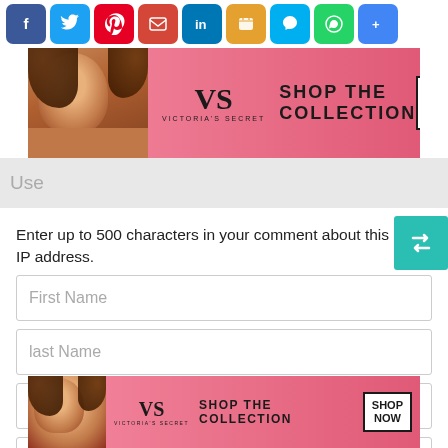[Figure (screenshot): Social media sharing icons row: Facebook, Twitter, Pinterest, Email, LinkedIn, Messenger, Skype, WhatsApp, Google+]
[Figure (photo): Victoria's Secret advertisement banner: woman with curly hair, VS logo, SHOP THE COLLECTION text, SHOP NOW button, pink background]
[Figure (screenshot): Partial gray header bar with 'Use' text visible]
Enter up to 500 characters in your comment about this IP address.
[Figure (screenshot): Teal retweet/recycle icon button in top right]
First Name
last Name
Email (not published)
Comment Text
[Figure (screenshot): CLOSE button gray]
[Figure (photo): Victoria's Secret advertisement banner bottom: woman with curly hair, VS logo, SHOP THE COLLECTION text, SHOP NOW button, pink background]